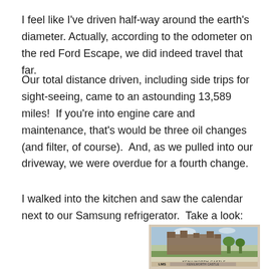I feel like I've driven half-way around the earth's diameter.  Actually, according to the odometer on the red Ford Escape, we did indeed travel that far.
Our total distance driven, including side trips for sight-seeing, came to an astounding 13,589 miles!  If you're into engine care and maintenance, that's would be three oil changes (and filter, of course).  And, as we pulled into our driveway, we were overdue for a fourth change.
I walked into the kitchen and saw the calendar next to our Samsung refrigerator.  Take a look:
[Figure (photo): A photograph of a calendar page showing an illustrated image of Kenilworth Castle, with LMS text at the bottom, displayed next to a Samsung refrigerator.]